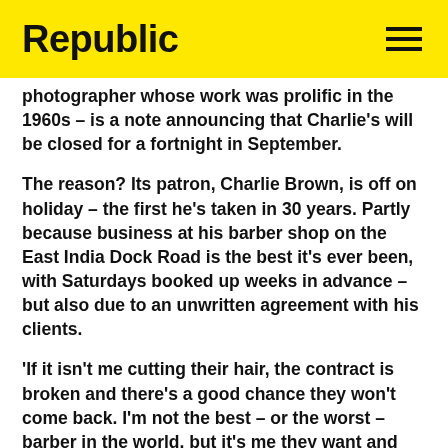Republic
photographer whose work was prolific in the 1960s – is a note announcing that Charlie's will be closed for a fortnight in September.
The reason? Its patron, Charlie Brown, is off on holiday – the first he's taken in 30 years. Partly because business at his barber shop on the East India Dock Road is the best it's ever been, with Saturdays booked up weeks in advance – but also due to an unwritten agreement with his clients.
'If it isn't me cutting their hair, the contract is broken and there's a good chance they won't come back. I'm not the best – or the worst – barber in the world, but it's me they want and it's important we can pick up a conversation where we left off,' says the sprightly 63-year-old. It's no wonder his customers act as if they've had an affair when they get a trim elsewhere.
An art fan with a knack for picking skills up quickly, Charlie started as the shop's hairdressing apprentice